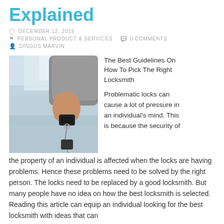Explained
DECEMBER 12, 2019
PERSONAL PRODUCT & SERVICES   0 COMMENTS
DINGUS MARVIN
[Figure (photo): A hand holding car keys against a blurred outdoor background]
The Best Guidelines On How To Pick The Right Locksmith
Problematic locks can cause a lot of pressure in an individual's mind. This is because the security of the property of an individual is affected when the locks are having problems. Hence these problems need to be solved by the right person. The locks need to be replaced by a good locksmith. But many people have no idea on how the best locksmith is selected. Reading this article can equip an individual looking for the best locksmith with ideas that can